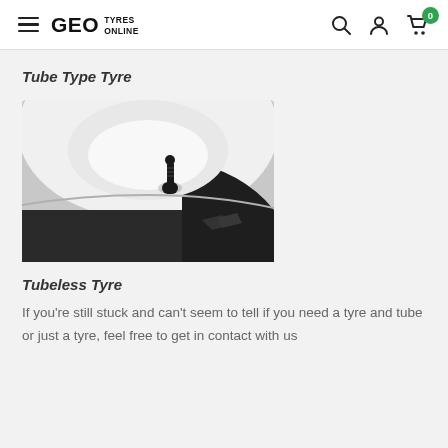GEO TYRES ONLINE — navigation header
Tube Type Tyre
[Figure (photo): Close-up photo of a black rubber tyre valve stem on a white wheel rim with a black tyre visible at the edges]
Tubeless Tyre
If you're still stuck and can't seem to tell if you need a tyre and tube or just a tyre, feel free to get in contact with us